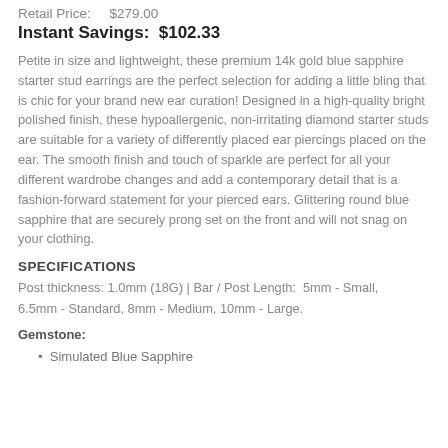Retail Price:   $279.00
Instant Savings:  $102.33
Petite in size and lightweight, these premium 14k gold blue sapphire starter stud earrings are the perfect selection for adding a little bling that is chic for your brand new ear curation! Designed in a high-quality bright polished finish, these hypoallergenic, non-irritating diamond starter studs are suitable for a variety of differently placed ear piercings placed on the ear. The smooth finish and touch of sparkle are perfect for all your different wardrobe changes and add a contemporary detail that is a fashion-forward statement for your pierced ears. Glittering round blue sapphire that are securely prong set on the front and will not snag on your clothing.
SPECIFICATIONS
Post thickness: 1.0mm (18G) | Bar / Post Length:  5mm - Small, 6.5mm - Standard, 8mm - Medium, 10mm - Large.
Gemstone:
Simulated Blue Sapphire